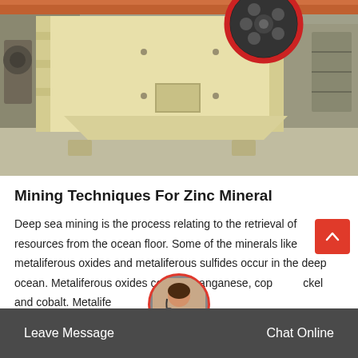[Figure (photo): Industrial jaw crusher machine photographed in a factory/warehouse setting. The machine is large, cream/beige colored with a large black and red flywheel on top. The factory floor and steel structure are visible in the background.]
Mining Techniques For Zinc Mineral
Deep sea mining is the process relating to the retrieval of resources from the ocean floor. Some of the minerals like metaliferous oxides and metaliferous sulfides occur in the deep ocean. Metaliferous oxides contain manganese, copper, nickel and cobalt. Metalife...
Leave Message   Chat Online